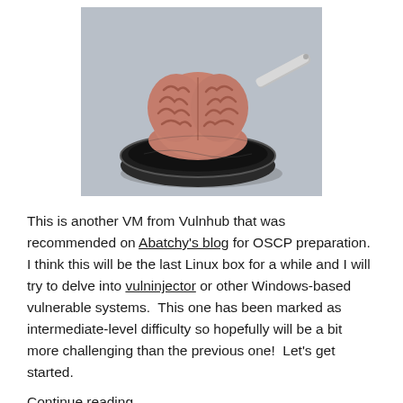[Figure (photo): A human brain sitting in a frying pan with a metal handle, on a light gray background. The image suggests the concept of 'frying your brain'.]
This is another VM from Vulnhub that was recommended on Abatchy's blog for OSCP preparation. I think this will be the last Linux box for a while and I will try to delve into vulninjector or other Windows-based vulnerable systems. This one has been marked as intermediate-level difficulty so hopefully will be a bit more challenging than the previous one! Let's get started.
Continue reading